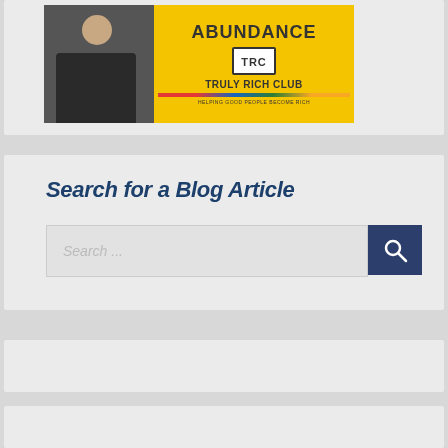[Figure (illustration): Banner advertisement for Truly Rich Club showing a person in dark suit with arms crossed on yellow background with 'ABUNDANCE' text and TRC logo reading 'HELPING GOOD PEOPLE BECOME RICH']
Search for a Blog Article
[Figure (screenshot): Search input field with placeholder text 'Search ...' and a dark blue search button with magnifying glass icon]
[Figure (other): Empty gray card section]
[Figure (other): Empty gray card section partially visible]